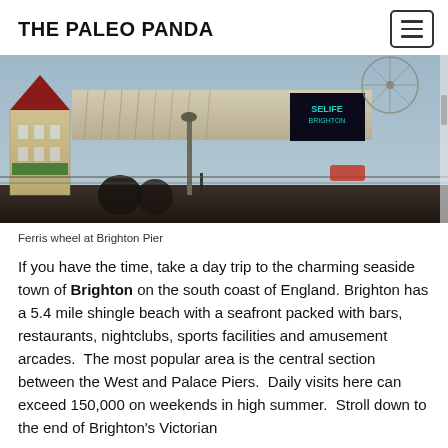THE PALEO PANDA
[Figure (photo): Ferris wheel and colorful buildings at Brighton Pier, with canopied structures and crowds visible]
Ferris wheel at Brighton Pier
If you have the time, take a day trip to the charming seaside town of Brighton on the south coast of England. Brighton has a 5.4 mile shingle beach with a seafront packed with bars, restaurants, nightclubs, sports facilities and amusement arcades.  The most popular area is the central section between the West and Palace Piers.  Daily visits here can exceed 150,000 on weekends in high summer.  Stroll down to the end of Brighton's Victorian